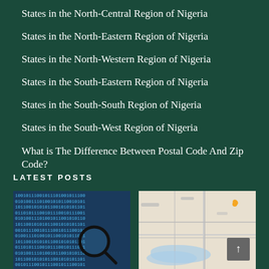States in the North-Central Region of Nigeria
States in the North-Eastern Region of Nigeria
States in the North-Western Region of Nigeria
States in the South-Eastern Region of Nigeria
States in the South-South Region of Nigeria
States in the South-West Region of Nigeria
What is The Difference Between Postal Code And Zip Code?
LATEST POSTS
[Figure (photo): Binary code data displayed on screen with a magnifying glass examining it]
[Figure (map): Map image showing a geographic region with roads and water features, with a scroll-to-top button overlay]